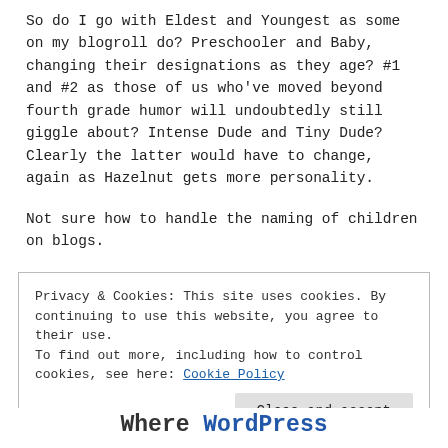So do I go with Eldest and Youngest as some on my blogroll do? Preschooler and Baby, changing their designations as they age? #1 and #2 as those of us who've moved beyond fourth grade humor will undoubtedly still giggle about? Intense Dude and Tiny Dude? Clearly the latter would have to change, again as Hazelnut gets more personality.
Not sure how to handle the naming of children on blogs.
And can't believe I just wasted this many words just thinking out loud. Now, you tell me how or why you chose to refer to your children online (or how and why you vote for naming our little nuts.)
Privacy & Cookies: This site uses cookies. By continuing to use this website, you agree to their use.
To find out more, including how to control cookies, see here: Cookie Policy
Close and accept
Where WordPress...